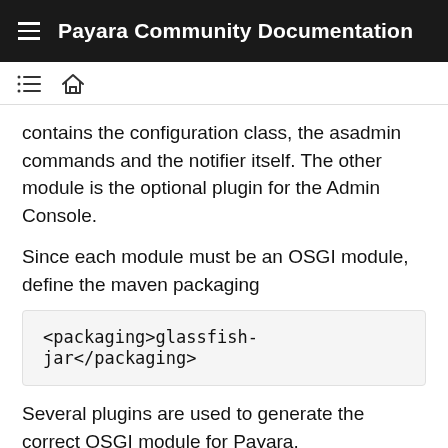Payara Community Documentation
contains the configuration class, the asadmin commands and the notifier itself. The other module is the optional plugin for the Admin Console.
Since each module must be an OSGI module, define the maven packaging
<packaging>glassfish-jar</packaging>
Several plugins are used to generate the correct OSGI module for Payara.
<plugins>